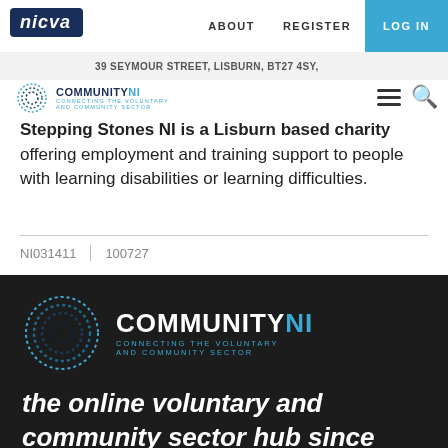nicva | ABOUT  REGISTER  LOG IN
39 SEYMOUR STREET, LISBURN, BT27 4SY,
[Figure (logo): CommunityNI logo with circular dotted ring icon and text COMMUNITYNI CONNECTING THE VOLUNTARY AND COMMUNITY SECTOR]
Stepping Stones NI is a Lisburn based charity offering employment and training support to people with learning disabilities or learning difficulties.
NI031411   100727
[Figure (logo): Large CommunityNI logo on dark background with circular dotted ring icon and text COMMUNITYNI CONNECTING THE VOLUNTARY AND COMMUNITY SECTOR]
the online voluntary and community sector hub since 2006